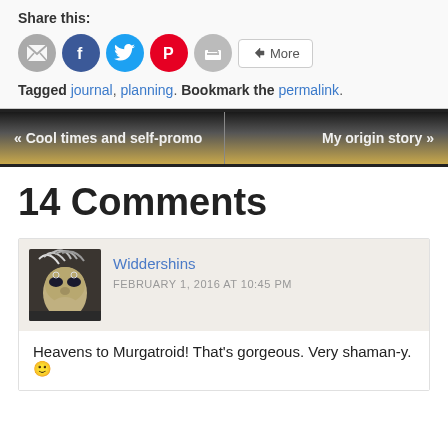Share this:
[Figure (infographic): Share buttons: email (gray circle), Facebook (blue circle), Twitter (blue circle), Pinterest (red circle), print (gray circle), and a More button with share icon]
Tagged journal, planning. Bookmark the permalink.
« Cool times and self-promo    My origin story »
14 Comments
[Figure (photo): Avatar image of a person wearing a decorative silver masquerade mask with feathers]
Widdershins
FEBRUARY 1, 2016 AT 10:45 PM
Heavens to Murgatroid! That's gorgeous. Very shaman-y. 🙂